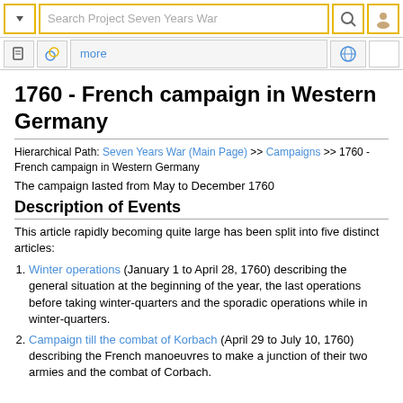Search Project Seven Years War
1760 - French campaign in Western Germany
Hierarchical Path: Seven Years War (Main Page) >> Campaigns >> 1760 - French campaign in Western Germany
The campaign lasted from May to December 1760
Description of Events
This article rapidly becoming quite large has been split into five distinct articles:
Winter operations (January 1 to April 28, 1760) describing the general situation at the beginning of the year, the last operations before taking winter-quarters and the sporadic operations while in winter-quarters.
Campaign till the combat of Korbach (April 29 to July 10, 1760) describing the French manoeuvres to make a junction of their two armies and the combat of Corbach.